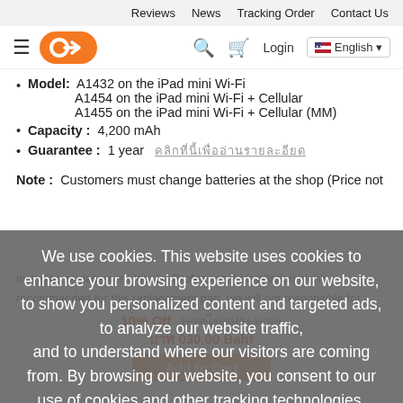Reviews  News  Tracking Order  Contact Us
[Figure (logo): Orange arrow logo with hamburger menu, search icon, cart icon, Login text, English language selector with US flag]
Model:  A1432 on the iPad mini Wi-Fi  A1454 on the iPad mini Wi-Fi + Cellular  A1455 on the iPad mini Wi-Fi + Cellular (MM)
Capacity :  4,200 mAh
Guarantee :  1 year  [Thai text link]
Note :  Customers must change batteries at the shop (Price not including replacement fees) – Professional installation highly recommended for this replacement part, we will not responsible for
10% Off  [strikethrough price]  THB 030.00 Baht
Add to Cart
We use cookies. This website uses cookies to enhance your browsing experience on our website, to show you personalized content and targeted ads, to analyze our website traffic, and to understand where our visitors are coming from. By browsing our website, you consent to our use of cookies and other tracking technologies.
Details please read  Details Pdpa  Agree